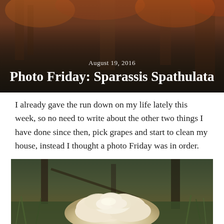[Figure (photo): Forest scene header image with warm orange/brown tones showing tree bark and forest floor, overlaid with blog post date and title text]
August 19, 2016
Photo Friday: Sparassis Spathulata
I already gave the run down on my life lately this week, so no need to write about the other two things I have done since then, pick grapes and start to clean my house, instead I thought a photo Friday was in order.
[Figure (photo): Photograph of a Sparassis Spathulata mushroom (white, ruffled, cauliflower-like fungus) growing on a forest floor surrounded by green grass and pine needles, with trees and undergrowth in the background]